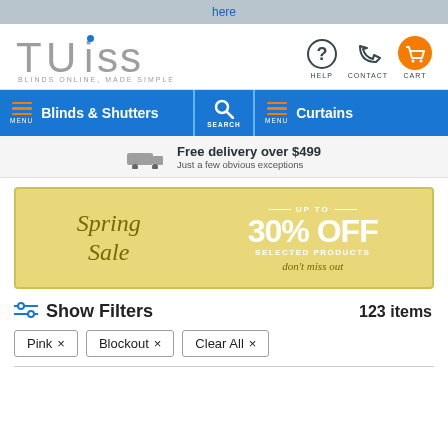here
[Figure (logo): TUISS logo with blue dot over i, tagline BLINDS ONLINE, MADE SIMPLE]
[Figure (infographic): Navigation bar with Blinds & Shutters menu, Search, Curtains menu]
Free delivery over $499 Just a few obvious exceptions
[Figure (infographic): Spring Sale banner: UP TO 30% OFF SELECTED PRODUCTS don't miss out]
Show Filters   123 items
Pink ×
Blockout ×
Clear All ×